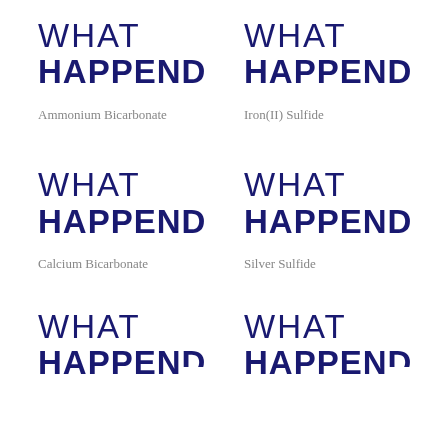[Figure (illustration): WHAT HAPPEND logo/text in dark navy, bold condensed style]
Ammonium Bicarbonate
[Figure (illustration): WHAT HAPPEND logo/text in dark navy, bold condensed style]
Iron(II) Sulfide
[Figure (illustration): WHAT HAPPEND logo/text in dark navy, bold condensed style]
Calcium Bicarbonate
[Figure (illustration): WHAT HAPPEND logo/text in dark navy, bold condensed style]
Silver Sulfide
[Figure (illustration): WHAT HAPPEND logo/text in dark navy, bold condensed style (partial, cut off)]
[Figure (illustration): WHAT HAPPEND logo/text in dark navy, bold condensed style (partial, cut off)]